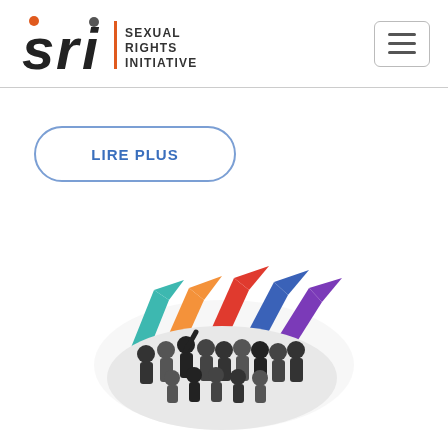[Figure (logo): SRI - Sexual Rights Initiative logo with stylized 'sri' letters and orange/dark divider, followed by text 'SEXUAL RIGHTS INITIATIVE']
LIRE PLUS
[Figure (illustration): Group of diverse people in black and white photo arranged in an oval, with colorful upward-pointing arrows (teal, orange, red, blue, purple) rising behind them]